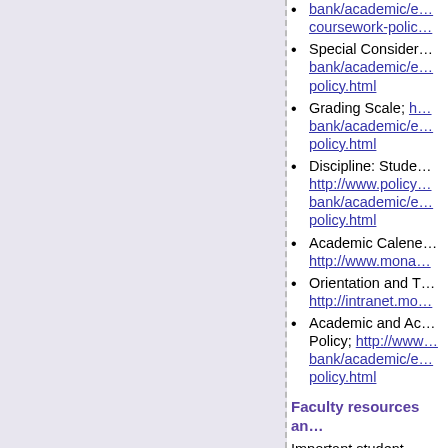bank/academic/e... coursework-polic...
Special Consideration; bank/academic/e... policy.html
Grading Scale; h... bank/academic/e... policy.html
Discipline: Stude... http://www.policy... bank/academic/e... policy.html
Academic Calene... http://www.mona...
Orientation and T... http://intranet.mo...
Academic and Ac... Policy; http://www... bank/academic/e... policy.html
Faculty resources an...
Important student reso... http://intranet.monash....